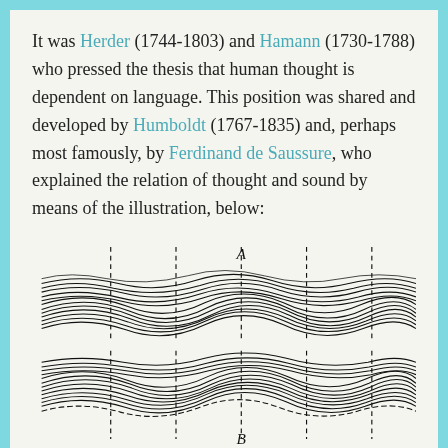It was Herder (1744-1803) and Hamann (1730-1788) who pressed the thesis that human thought is dependent on language. This position was shared and developed by Humboldt (1767-1835) and, perhaps most famously, by Ferdinand de Saussure, who explained the relation of thought and sound by means of the illustration, below:
[Figure (illustration): Saussure's illustration showing thought (A, upper band of wavy horizontal lines) and sound (B, lower band of wavy horizontal lines) separated by dashed vertical lines, representing the arbitrary division of the continua of thought and sound into linguistic units.]